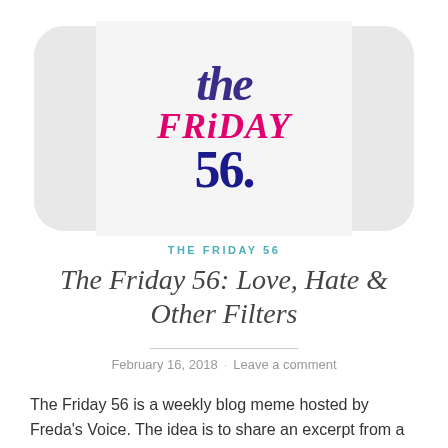[Figure (logo): The Friday 56 logo — stylized text: 'the' in dark purple italic, 'FRIDAY' in hot pink bold italic, '56' in navy bold, on a light grey card with rounded-rectangle grey outer card]
THE FRIDAY 56
The Friday 56: Love, Hate & Other Filters
February 16, 2018 · Leave a comment
The Friday 56 is a weekly blog meme hosted by Freda's Voice. The idea is to share an excerpt from a book you've